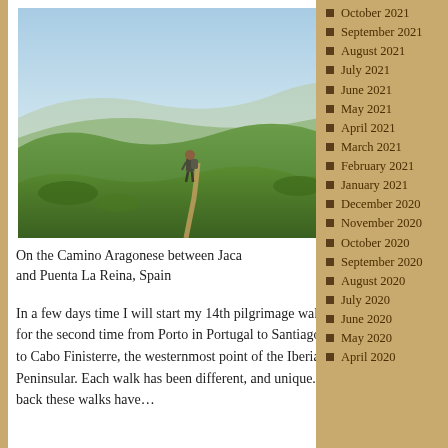[Figure (photo): A hiker with a backpack standing on a green hillside trail with panoramic valley views in the background, on the Camino Aragonese between Jaca and Puenta La Reina, Spain.]
On the Camino Aragonese between Jaca and Puenta La Reina, Spain
In a few days time I will start my 14th pilgrimage walk, walking for the second time from Porto in Portugal to Santiago and then to Cabo Finisterre, the westernmost point of the Iberian Peninsular. Each walk has been different, and unique. Looking back these walks have…
October 2021
September 2021
August 2021
July 2021
June 2021
May 2021
April 2021
March 2021
February 2021
January 2021
December 2020
November 2020
October 2020
September 2020
August 2020
July 2020
June 2020
May 2020
April 2020